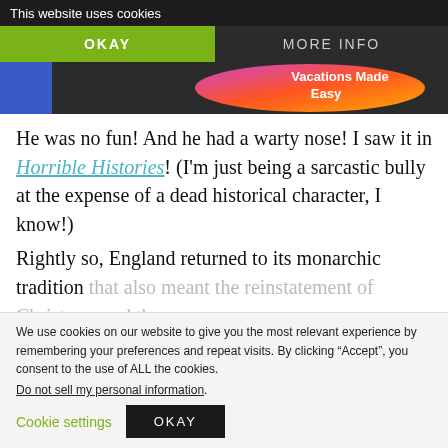This website uses cookies
OKAY | MORE INFO
[Figure (logo): Website logo with blue box and colorful oval gradient shape with text 'Vacations Made Easy']
He was no fun! And he had a warty nose! I saw it in Horrible Histories!  (I'm just being a sarcastic bully at the expense of a dead historical character, I know!)
Rightly so, England returned to its monarchic tradition that also meant the reinstatement of Christmas and the
We use cookies on our website to give you the most relevant experience by remembering your preferences and repeat visits. By clicking “Accept”, you consent to the use of ALL the cookies.
Do not sell my personal information.
Cookie settings   OKAY